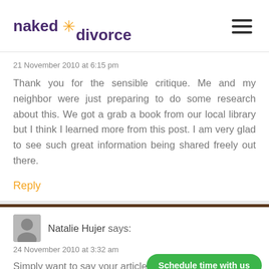naked divorce
21 November 2010 at 6:15 pm
Thank you for the sensible critique. Me and my neighbor were just preparing to do some research about this. We got a grab a book from our local library but I think I learned more from this post. I am very glad to see such great information being shared freely out there.
Reply
Natalie Hujer says:
24 November 2010 at 3:32 am
Simply want to say your article is as tonishing. The
Schedule time with us